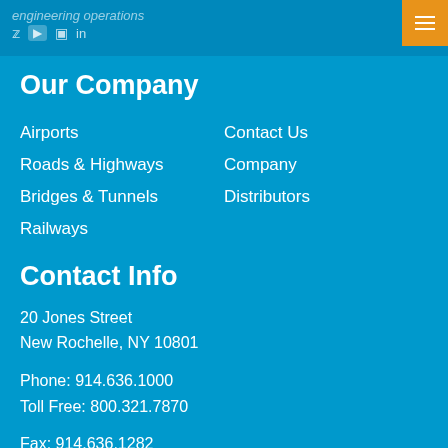engineering operations
Our Company
Airports
Contact Us
Roads & Highways
Company
Bridges & Tunnels
Distributors
Railways
Contact Info
20 Jones Street
New Rochelle, NY 10801
Phone: 914.636.1000
Toll Free: 800.321.7870
Fax: 914.636.1282